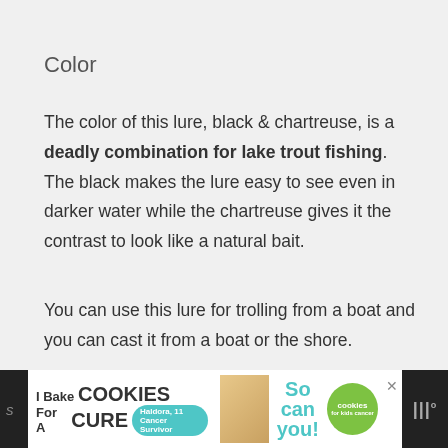Color
The color of this lure, black & chartreuse, is a deadly combination for lake trout fishing. The black makes the lure easy to see even in darker water while the chartreuse gives it the contrast to look like a natural bait.
You can use this lure for trolling from a boat and you can cast it from a boat or the shore.
[Figure (other): Advertisement banner at the bottom: 'I Bake COOKIES For A CURE' with Haldora, 11 Cancer Survivor badge and cookies for kids cancer logo]